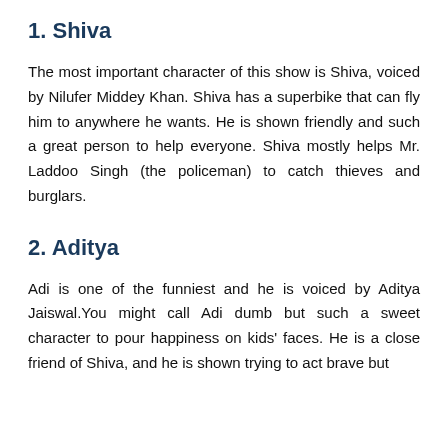1. Shiva
The most important character of this show is Shiva, voiced by Nilufer Middey Khan. Shiva has a superbike that can fly him to anywhere he wants. He is shown friendly and such a great person to help everyone. Shiva mostly helps Mr. Laddoo Singh (the policeman) to catch thieves and burglars.
2. Aditya
Adi is one of the funniest and he is voiced by Aditya Jaiswal.You might call Adi dumb but such a sweet character to pour happiness on kids' faces. He is a close friend of Shiva, and he is shown trying to act brave but